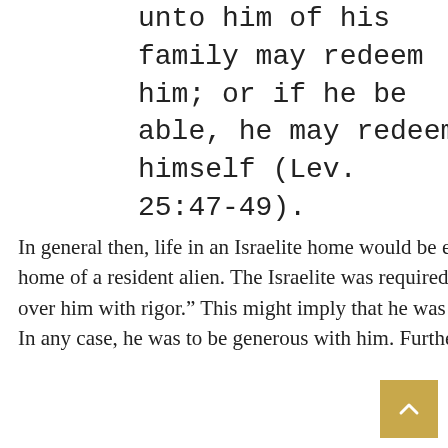unto him of his family may redeem him; or if he be able, he may redeem himself (Lev. 25:47-49).
In general then, life in an Israelite home would be easier for the indentured servant than life in the home of a resident alien. The Israelite was required to treat his servant as hired man and “not rule over him with rigor.” This might imply that he was to pay him wages on top of the purchase price. In any case, he was to be generous with him. Furthermore, the indentured servant would live and